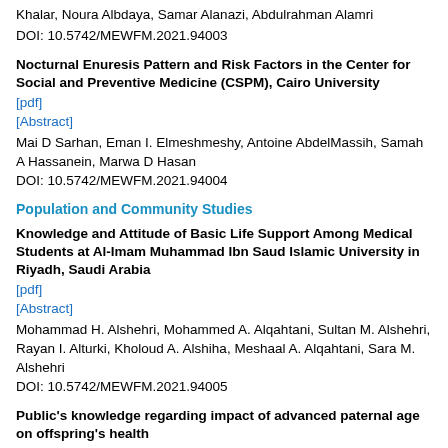Khalar, Noura Albdaya, Samar Alanazi, Abdulrahman Alamri
DOI: 10.5742/MEWFM.2021.94003
Nocturnal Enuresis Pattern and Risk Factors in the Center for Social and Preventive Medicine (CSPM), Cairo University
[pdf]
[Abstract]
Mai D Sarhan, Eman I. Elmeshmeshy, Antoine AbdelMassih, Samah A Hassanein, Marwa D Hasan
DOI: 10.5742/MEWFM.2021.94004
Population and Community Studies
Knowledge and Attitude of Basic Life Support Among Medical Students at Al-Imam Muhammad Ibn Saud Islamic University in Riyadh, Saudi Arabia
[pdf]
[Abstract]
Mohammad H. Alshehri, Mohammed A. Alqahtani, Sultan M. Alshehri, Rayan I. Alturki, Kholoud A. Alshiha, Meshaal A. Alqahtani, Sara M. Alshehri
DOI: 10.5742/MEWFM.2021.94005
Public's knowledge regarding impact of advanced paternal age on offspring's health
[pdf]
[Abstract]
Ashwag Asiri, Fatimah Alahmari, Raghad S. Asiri, Razan Sultan
DOI: 10.5742/MEWFM.2021.94006